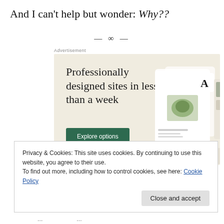And I can't help but wonder: Why??
— ∞ —
[Figure (illustration): Advertisement banner with beige background showing text 'Professionally designed sites in less than a week' with a green 'Explore options' button and website mockup screenshots on the right side.]
Privacy & Cookies: This site uses cookies. By continuing to use this website, you agree to their use.
To find out more, including how to control cookies, see here: Cookie Policy
Close and accept